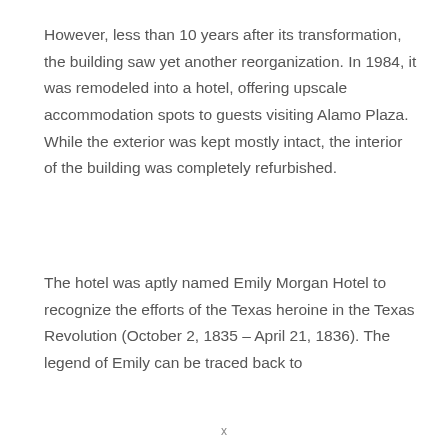However, less than 10 years after its transformation, the building saw yet another reorganization. In 1984, it was remodeled into a hotel, offering upscale accommodation spots to guests visiting Alamo Plaza. While the exterior was kept mostly intact, the interior of the building was completely refurbished.
The hotel was aptly named Emily Morgan Hotel to recognize the efforts of the Texas heroine in the Texas Revolution (October 2, 1835 – April 21, 1836). The legend of Emily can be traced back to
x